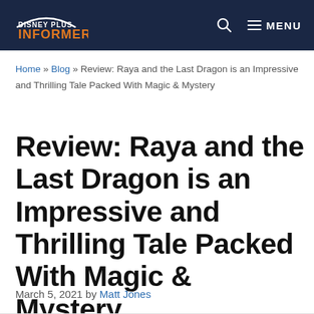DISNEY PLUS INFORMER — MENU
Home » Blog » Review: Raya and the Last Dragon is an Impressive and Thrilling Tale Packed With Magic & Mystery
Review: Raya and the Last Dragon is an Impressive and Thrilling Tale Packed With Magic & Mystery
March 5, 2021 by Matt Jones